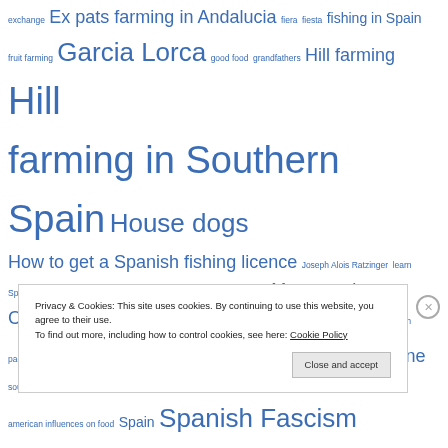exchange Ex pats farming in Andalucia fiera fiesta fishing in Spain fruit farming Garcia Lorca good food grandfathers Hill farming Hill farming in Southern Spain House dogs How to get a Spanish fishing licence Joseph Alois Ratzinger learn Spanish machismo menu del dia moorish culture Moors and Christians moscatel grape Mount Maroma Obama orange blossom paella rice Pope benedict XV1 Recipe for paella Red Wine south american influences on food Spain Spanish Fascism
Privacy & Cookies: This site uses cookies. By continuing to use this website, you agree to their use. To find out more, including how to control cookies, see here: Cookie Policy